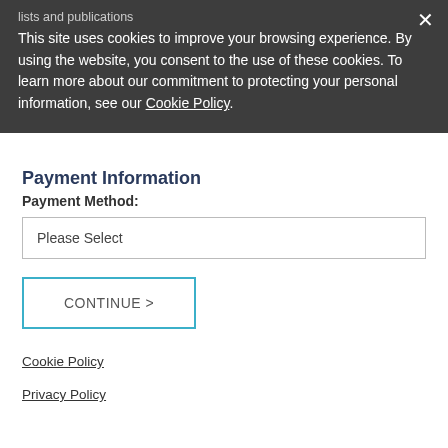lists and publications
This site uses cookies to improve your browsing experience. By using the website, you consent to the use of these cookies. To learn more about our commitment to protecting your personal information, see our Cookie Policy.
Payment Information
Payment Method:
Please Select
CONTINUE >
Cookie Policy
Privacy Policy